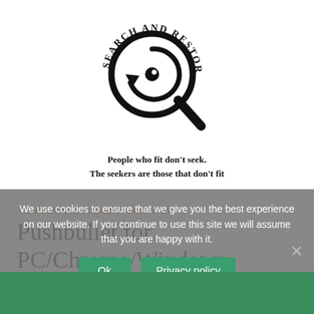[Figure (logo): Search and Restore logo: magnifying glass with a circular arrow/restore icon inside, text arched around the top reading SEARCH AND RESTORE]
People who fit don't seek.
The seekers are those that don't fit
COMMON QUESTIONS / 30/09/2021
Pushbullet for PC/Chrome/Windows 7,8,10
We use cookies to ensure that we give you the best experience on our website. If you continue to use this site we will assume that you are happy with it.
Ok   Privacy policy